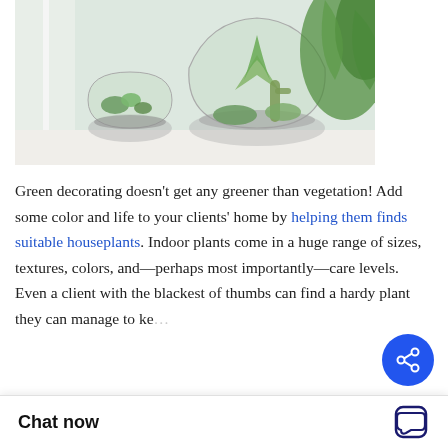[Figure (photo): Three glass terrariums with succulents and air plants on a white windowsill, with green foliage in the background.]
Green decorating doesn't get any greener than vegetation! Add some color and life to your clients' home by helping them finds suitable houseplants. Indoor plants come in a huge range of sizes, textures, colors, and—perhaps most importantly—care levels. Even a client with the blackest of thumbs can find a hardy plant they can manage to ke…